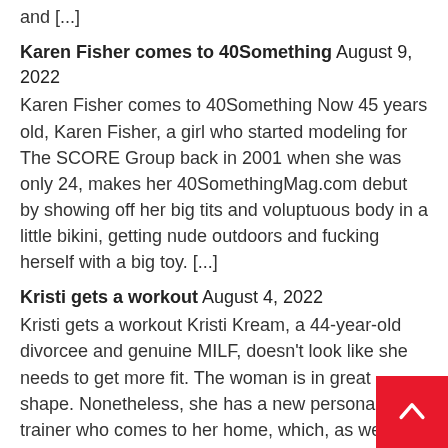and [...]
Karen Fisher comes to 40Something August 9, 2022
Karen Fisher comes to 40Something Now 45 years old, Karen Fisher, a girl who started modeling for The SCORE Group back in 2001 when she was only 24, makes her 40SomethingMag.com debut by showing off her big tits and voluptuous body in a little bikini, getting nude outdoors and fucking herself with a big toy. [...]
Kristi gets a workout August 4, 2022
Kristi gets a workout Kristi Kream, a 44-year-old divorcee and genuine MILF, doesn't look like she needs to get more fit. The woman is in great shape. Nonetheless, she has a new personal trainer who comes to her home, which, as we know, is the way things work in the world of MILFs and their [...]
Bikinis & a big toy August 2, 2022
Bikinis & a big toy Kristi Kream, a 44-year-old divorcee and mother of four from Connecticut, has a perfect bikini body. she's decided to try on some tiny bikinis for your viewing